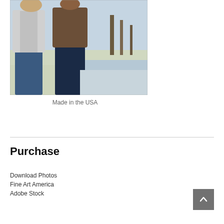[Figure (photo): Two women standing outdoors in winter/fall setting. Left person wears a light gray open cardigan over dark jeans. Right person wears a brown/dark sweater with dark navy jeans. Background shows a snowy or icy outdoor scene.]
Made in the USA
Purchase
Download Photos
Fine Art America
Adobe Stock